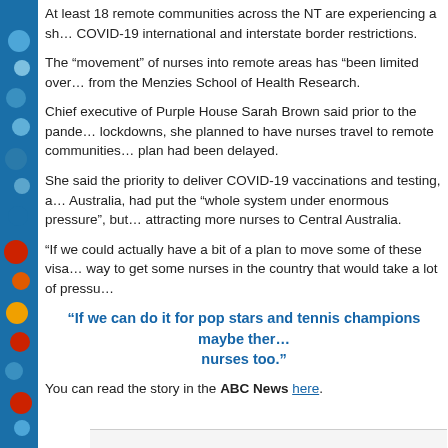At least 18 remote communities across the NT are experiencing a shortage of nurses due to COVID-19 international and interstate border restrictions.
The “movement” of nurses into remote areas has “been limited over the past two years” according to researchers from the Menzies School of Health Research.
Chief executive of Purple House Sarah Brown said prior to the pandemic and associated lockdowns, she planned to have nurses travel to remote communities to provide dialysis care, but that plan had been delayed.
She said the priority to deliver COVID-19 vaccinations and testing, as well as closed borders across Australia, had put the “whole system under enormous pressure”, but hoped border exemptions would help in attracting more nurses to Central Australia.
“If we could actually have a bit of a plan to move some of these visa holders around, that would be a way to get some nurses in the country that would take a lot of pressure off the system.”
“If we can do it for pop stars and tennis champions maybe there’s a way to do it for nurses too.”
You can read the story in the ABC News here.